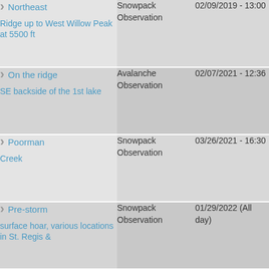| Location | Type | Date |
| --- | --- | --- |
| Northeast
Ridge up to West Willow Peak at 5500 ft | Snowpack Observation | 02/09/2019 - 13:00 |
| On the ridge
SE backside of the 1st lake | Avalanche Observation | 02/07/2021 - 12:36 |
| Poorman
Creek | Snowpack Observation | 03/26/2021 - 16:30 |
| Pre-storm
surface hoar, various locations in St. Regis & | Snowpack Observation | 01/29/2022 (All day) |